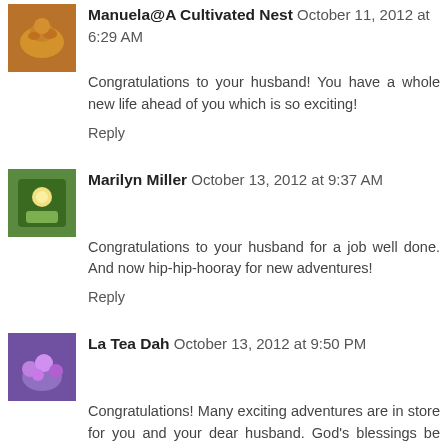Manuela@A Cultivated Nest October 11, 2012 at 6:29 AM
Congratulations to your husband! You have a whole new life ahead of you which is so exciting!
Reply
Marilyn Miller October 13, 2012 at 9:37 AM
Congratulations to your husband for a job well done. And now hip-hip-hooray for new adventures!
Reply
La Tea Dah October 13, 2012 at 9:50 PM
Congratulations! Many exciting adventures are in store for you and your dear husband. God's blessings be yours on your adventures!
Reply